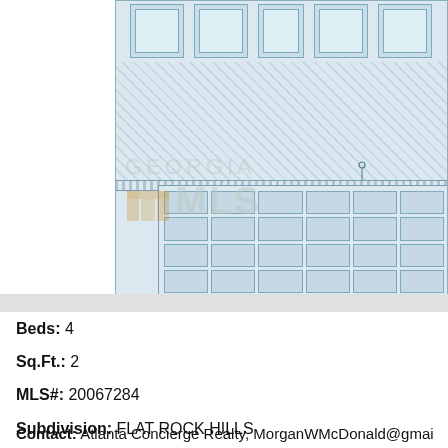[Figure (engineering-diagram): Partial floor plan/elevation blueprint showing windows at top, hatched wall sections, a door symbol, and a garage grid with rows of cells. Georgia MLS watermark logo overlaid on the lower-left of the blueprint area.]
Beds: 4
Sq.Ft.: 2
MLS#: 20067284
Subdivision: FLAT ROCK HILLS
Year built: 2022
View Details
Contact: Atlanta Concierge Realty, MorganWMcDonald@gmail